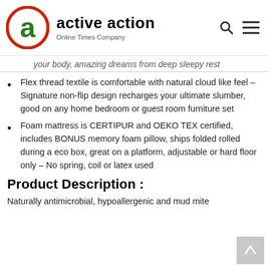active action — Online Times Company
your body, amazing dreams from deep sleepy rest
Flex thread textile is comfortable with natural cloud like feel – Signature non-flip design recharges your ultimate slumber, good on any home bedroom or guest room furniture set
Foam mattress is CERTIPUR and OEKO TEX certified, includes BONUS memory foam pillow, ships folded rolled during a eco box, great on a platform, adjustable or hard floor only – No spring, coil or latex used
Product  Description :
Naturally antimicrobial, hypoallergenic and mud mite